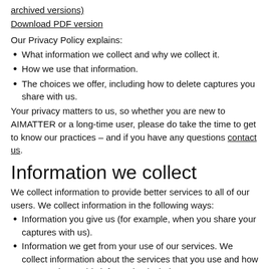archived versions)
Download PDF version
Our Privacy Policy explains:
What information we collect and why we collect it.
How we use that information.
The choices we offer, including how to delete captures you share with us.
Your privacy matters to us, so whether you are new to AIMATTER or a long-time user, please do take the time to get to know our practices – and if you have any questions contact us.
Information we collect
We collect information to provide better services to all of our users. We collect information in the following ways:
Information you give us (for example, when you share your captures with us).
Information we get from your use of our services. We collect information about the services that you use and how you use them. This information includes:
Device information